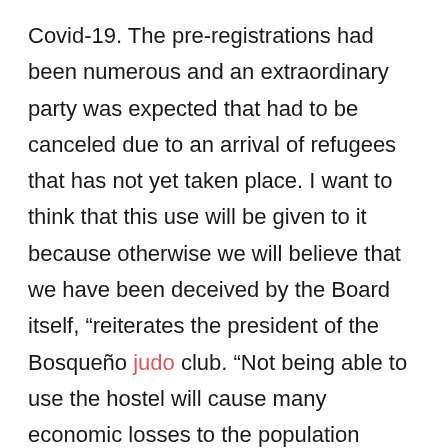Covid-19. The pre-registrations had been numerous and an extraordinary party was expected that had to be canceled due to an arrival of refugees that has not yet taken place. I want to think that this use will be given to it because otherwise we will believe that we have been deceived by the Board itself, “reiterates the president of the Bosqueño judo club. “Not being able to use the hostel will cause many economic losses to the population because the parents of the athletes usually stay in hotel establishments in the town and in surrounding rural houses. They even spend the night in Arcos because El Bosque does not have enough places. It is an activity that has a very great influence on the economic and business fabric of the region and it is